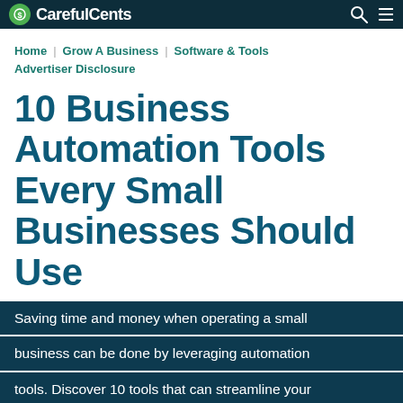CarefulCents
Home | Grow A Business | Software & Tools | Advertiser Disclosure
10 Business Automation Tools Every Small Businesses Should Use
Saving time and money when operating a small business can be done by leveraging automation tools. Discover 10 tools that can streamline your